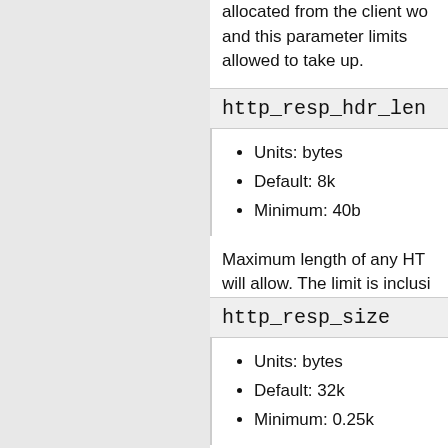allocated from the client wo and this parameter limits allowed to take up.
http_resp_hdr_len
Units: bytes
Default: 8k
Minimum: 40b
Maximum length of any HT will allow. The limit is inclusi
http_resp_size
Units: bytes
Default: 32k
Minimum: 0.25k
Maximum number of bytes deal with. This is a limit on a which ends the HTTP respo is allocated from the...